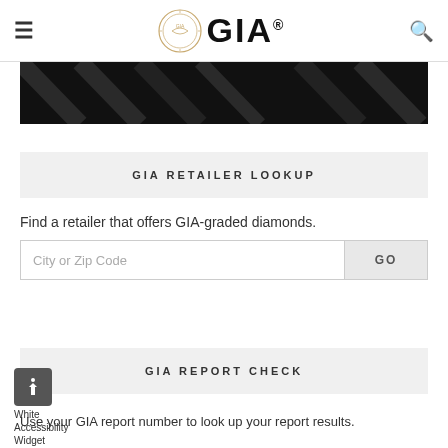GIA
[Figure (photo): Dark/black hero image banner]
GIA RETAILER LOOKUP
Find a retailer that offers GIA-graded diamonds.
GIA REPORT CHECK
Use your GIA report number to look up your report results.